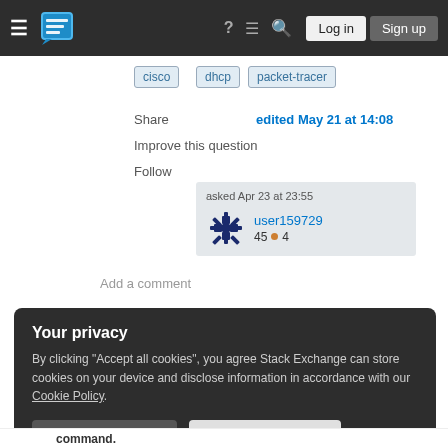Stack Exchange navigation bar with hamburger menu, logo, help icon, chat icon, search icon, Log in button, Sign up button
cisco
dhcp
packet-tracer
Share
edited May 21 at 14:08
Improve this question
Follow
asked Apr 23 at 23:55
user159729
45 ● 4
Add a comment
Your privacy
By clicking "Accept all cookies", you agree Stack Exchange can store cookies on your device and disclose information in accordance with our Cookie Policy.
Accept all cookies
Customize settings
command.